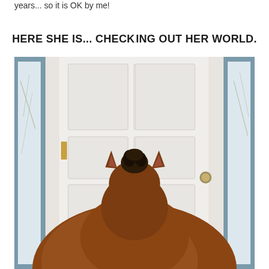years... so it is OK by me!
HERE SHE IS... CHECKING OUT HER WORLD.
[Figure (photo): A young foal (horse) seen from behind, standing at a white paneled front door with a brass knob. The foal has a brown/chestnut coat and small dark mane. The door is white with raised panels. On either side are sidelights with blue-painted frames. A baby gate with diamond lattice pattern is visible at the bottom of the door.]